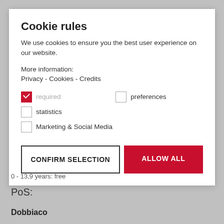Cookie rules
We use cookies to ensure you the best user experience on our website.
More information:
Privacy - Cookies - Credits
required (checked)
preferences (unchecked)
statistics (unchecked)
Marketing & Social Media (unchecked)
CONFIRM SELECTION
ALLOW ALL
0 - 13,9 years: free
PoS:
Dobbiaco